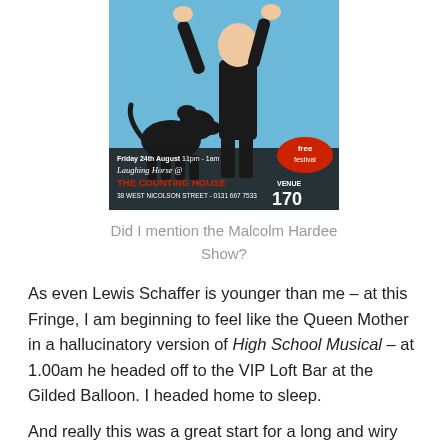[Figure (photo): Event poster for 'Malcolm Hardee Show' at The Counting House. Shows a man in black suit with hands raised above a silhouette of a dog. Text: Friday 24th August 11pm - 1am, Laughing Horse @ THE COUNTING HOUSE, 38 WEST NICOLSON STREET - 0131 667 7533, free festival, VENUE 170]
Did I mention the Malcolm Hardee Show?
As even Lewis Schaffer is younger than me – at this Fringe, I am beginning to feel like the Queen Mother in a hallucinatory version of High School Musical – at 1.00am he headed off to the VIP Loft Bar at the Gilded Balloon. I headed home to sleep.
And really this was a great start for a long and wiry...